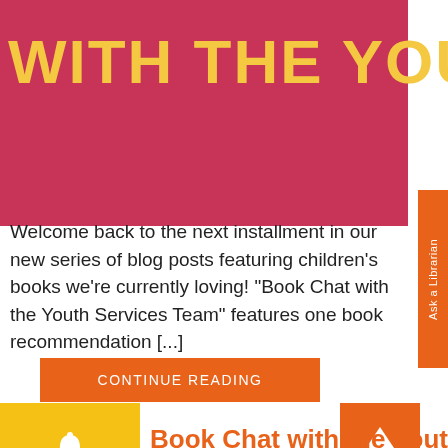[Figure (illustration): Red/crimson hero banner with large bold yellow uppercase text reading 'WITH THE YOUTH' (partially cropped on right edge)]
Welcome back to the next installment in our new series of blog posts featuring children’s books we’re currently loving! “Book Chat with the Youth Services Team” features one book recommendation [...]
CONTINUE READING
[Figure (illustration): Yellow square with white bell/notification icon]
[Figure (illustration): Orange square with white upward arrow icon]
Book Chat with the Youth